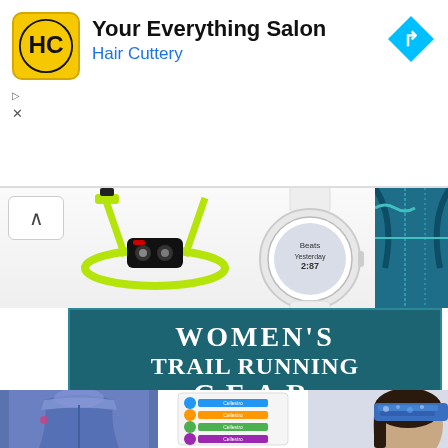[Figure (screenshot): Advertisement banner for Hair Cuttery salon with yellow/black HC logo, blue navigation arrow icon, and text 'Your Everything Salon / Hair Cuttery'. Small ad label and X dismiss button visible.]
[Figure (photo): Collage of women's trail running gear: lime green headlamp on left, Garmin smartwatch in center showing 'Beats Yesterday' screen, teal/blue running vest on right, with a chevron/back button.]
WOMEN'S TRAIL RUNNING GEAR you can find on Amazon
[Figure (photo): Bottom row of product images: blue women's trail running jacket on left, colorful supplement/gear package in center, and woman wearing blue patterned headband on right.]